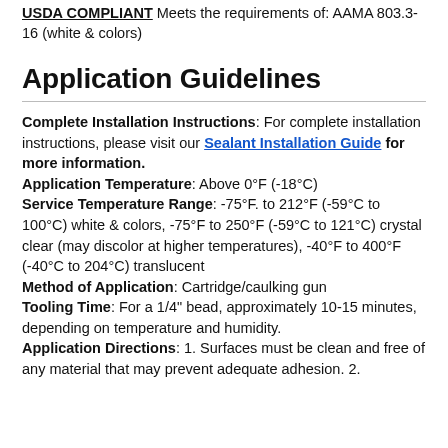USDA COMPLIANT Meets the requirements of: AAMA 803.3-16 (white & colors)
Application Guidelines
Complete Installation Instructions: For complete installation instructions, please visit our Sealant Installation Guide for more information. Application Temperature: Above 0°F (-18°C) Service Temperature Range: -75°F. to 212°F (-59°C to 100°C) white & colors, -75°F to 250°F (-59°C to 121°C) crystal clear (may discolor at higher temperatures), -40°F to 400°F (-40°C to 204°C) translucent Method of Application: Cartridge/caulking gun Tooling Time: For a 1/4" bead, approximately 10-15 minutes, depending on temperature and humidity. Application Directions: 1. Surfaces must be clean and free of any material that may prevent adequate adhesion. 2.